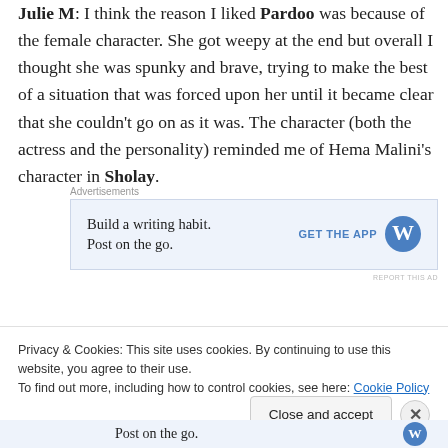Julie M: I think the reason I liked Pardoo was because of the female character. She got weepy at the end but overall I thought she was spunky and brave, trying to make the best of a situation that was forced upon her until it became clear that she couldn't go on as it was. The character (both the actress and the personality) reminded me of Hema Malini's character in Sholay.
[Figure (other): Advertisement banner: 'Build a writing habit. Post on the go.' with GET THE APP button and WordPress logo]
This song was OK too. Typical SRK starrer
Privacy & Cookies: This site uses cookies. By continuing to use this website, you agree to their use.
To find out more, including how to control cookies, see here: Cookie Policy
Post on the go.